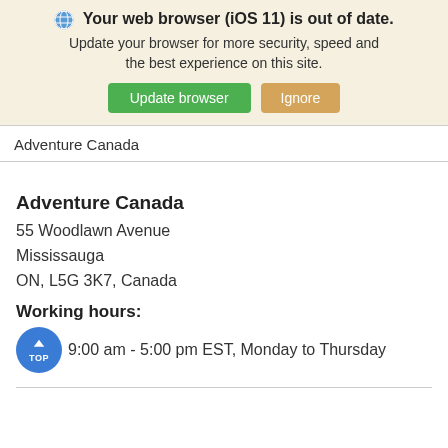🌐 Your web browser (iOS 11) is out of date. Update your browser for more security, speed and the best experience on this site. [Update browser] [Ignore]
Adventure Canada
Adventure Canada
55 Woodlawn Avenue
Mississauga
ON, L5G 3K7, Canada
Working hours:
9:00 am - 5:00 pm EST, Monday to Thursday